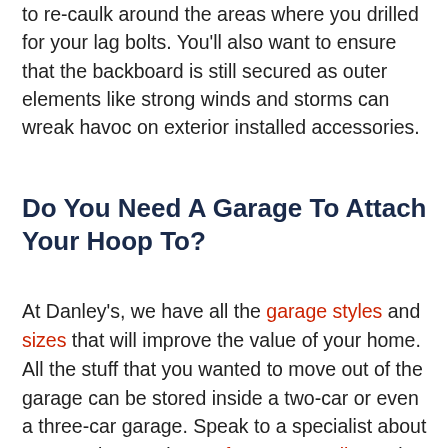to re-caulk around the areas where you drilled for your lag bolts. You'll also want to ensure that the backboard is still secured as outer elements like strong winds and storms can wreak havoc on exterior installed accessories.
Do You Need A Garage To Attach Your Hoop To?
At Danley's, we have all the garage styles and sizes that will improve the value of your home. All the stuff that you wanted to move out of the garage can be stored inside a two-car or even a three-car garage. Speak to a specialist about garage sizes and get a free quote online today.